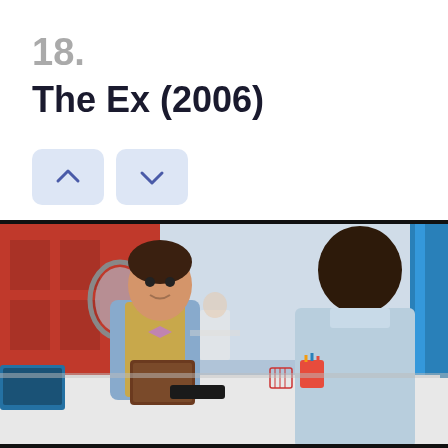18.
The Ex (2006)
[Figure (photo): Movie still from The Ex (2006) showing two men seated across from each other at a desk in a colorful modern office setting. The man on the left wears a tan vest and bow tie and holds a clipboard; the man on the right is seen from behind wearing a light blue shirt. Red and white office decor visible in background.]